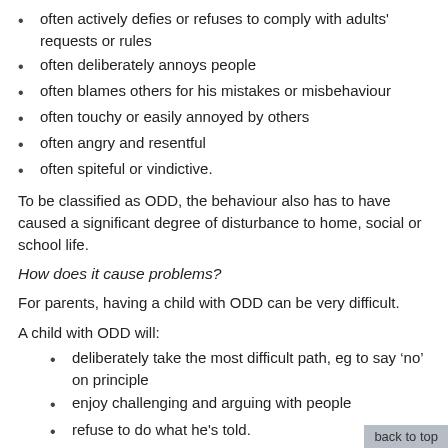often actively defies or refuses to comply with adults' requests or rules
often deliberately annoys people
often blames others for his mistakes or misbehaviour
often touchy or easily annoyed by others
often angry and resentful
often spiteful or vindictive.
To be classified as ODD, the behaviour also has to have caused a significant degree of disturbance to home, social or school life.
How does it cause problems?
For parents, having a child with ODD can be very difficult.
A child with ODD will:
deliberately take the most difficult path, eg to say ‘no’ on principle
enjoy challenging and arguing with people
refuse to do what he's told.
It's common for a child with ODD to blame everyone else for his problems, and at his worst he can be hostile, spiteful and vindictive